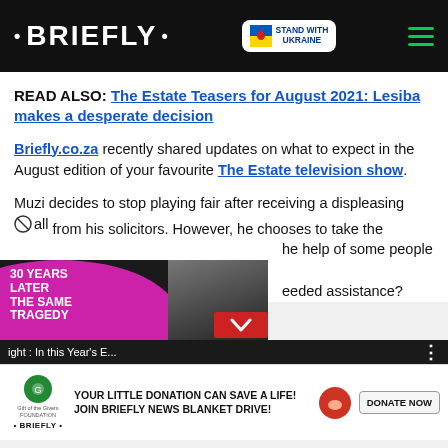• BRIEFLY •
READ ALSO: The Estate Teasers for August 2021: Lesiba makes a desperate decision
Briefly.co.za recently shared updates on what to expect in the August edition of your favourite The Estate television show.
Muzi decides to stop playing fair after receiving a displeasing call from his solicitors. However, he chooses to take the he help of some people to eeded assistance?
[Figure (screenshot): Video thumbnail showing ad '30 YEARS LATER THE SAME TRAGEDY' with a person's photo, and video player bar with text 'ight : In this Year's E...']
[Figure (infographic): Bottom advertisement banner: Gift of the Givers / BRIEFLY logos with text 'YOUR LITTLE DONATION CAN SAVE A LIFE! JOIN BRIEFLY NEWS BLANKET DRIVE!' and 'DONATE NOW' button]